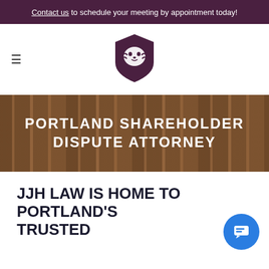Contact us to schedule your meeting by appointment today!
[Figure (logo): JJH Law lion head shield logo in dark purple]
PORTLAND SHAREHOLDER DISPUTE ATTORNEY
JJH LAW IS HOME TO PORTLAND'S TRUSTED